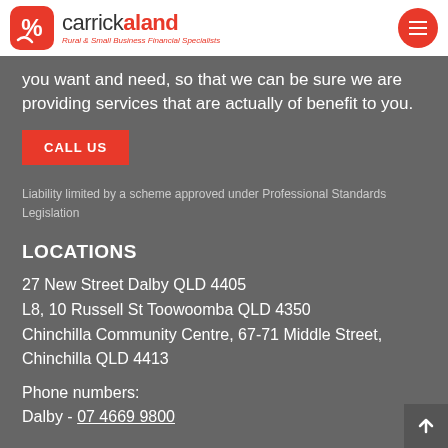carrickaland - Rural & Small Business Financial Specialists
you want and need, so that we can be sure we are providing services that are actually of benefit to you.
CALL US
Liability limited by a scheme approved under Professional Standards Legislation
LOCATIONS
27 New Street Dalby QLD 4405
L8, 10 Russell St Toowoomba QLD 4350
Chinchilla Community Centre, 67-71 Middle Street, Chinchilla QLD 4413
Phone numbers:
Dalby - 07 4669 9800